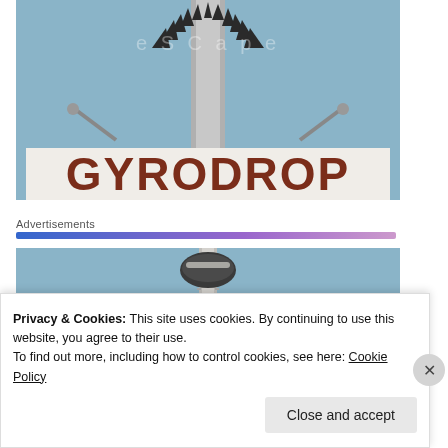[Figure (photo): A close-up view of a GYRODROP fairground ride sign with large brown letters spelling 'GYRODROP', with a tall metal pole and decorative spiky top visible against a blue sky, and two lamp posts on either side.]
Advertisements
[Figure (photo): A view looking up at a tall GYRODROP amusement ride tower with a round capsule near the top, against a blue sky.]
Privacy & Cookies: This site uses cookies. By continuing to use this website, you agree to their use.
To find out more, including how to control cookies, see here: Cookie Policy